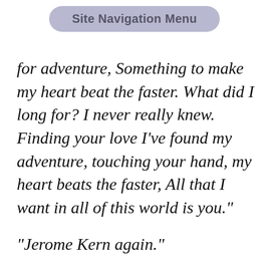Site Navigation Menu
for adventure, Something to make my heart beat the faster. What did I long for? I never really knew. Finding your love I've found my adventure, touching your hand, my heart beats the faster, All that I want in all of this world is you."
"Jerome Kern again."